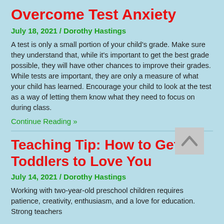Overcome Test Anxiety
July 18, 2021 / Dorothy Hastings
A test is only a small portion of your child's grade. Make sure they understand that, while it's important to get the best grade possible, they will have other chances to improve their grades. While tests are important, they are only a measure of what your child has learned. Encourage your child to look at the test as a way of letting them know what they need to focus on during class.
Continue Reading »
Teaching Tip: How to Get Toddlers to Love You
July 14, 2021 / Dorothy Hastings
Working with two-year-old preschool children requires patience, creativity, enthusiasm, and a love for education. Strong teachers